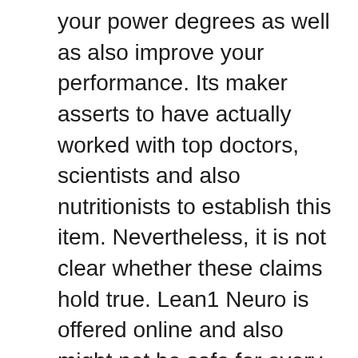your power degrees as well as also improve your performance. Its maker asserts to have actually worked with top doctors, scientists and also nutritionists to establish this item. Nevertheless, it is not clear whether these claims hold true. Lean1 Neuro is offered online and also might not be safe for every person. Make sure to consult your doctor prior to making a purchase.
Pure Neuro
Pure Neuro is a mind wellness supplement created to boost the performance of mind cells and prolong interest period. Made of 100% all-natural ingredients, it is risk-free for grownups and children alike. The only team of individuals not recommended to take Pure